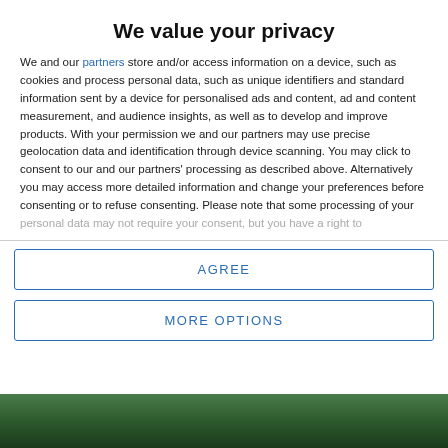We value your privacy
We and our partners store and/or access information on a device, such as cookies and process personal data, such as unique identifiers and standard information sent by a device for personalised ads and content, ad and content measurement, and audience insights, as well as to develop and improve products. With your permission we and our partners may use precise geolocation data and identification through device scanning. You may click to consent to our and our partners' processing as described above. Alternatively you may access more detailed information and change your preferences before consenting or to refuse consenting. Please note that some processing of your personal data may not require your consent, but you have a right to
AGREE
MORE OPTIONS
[Figure (photo): Green outdoor scene, partially visible at bottom of page]